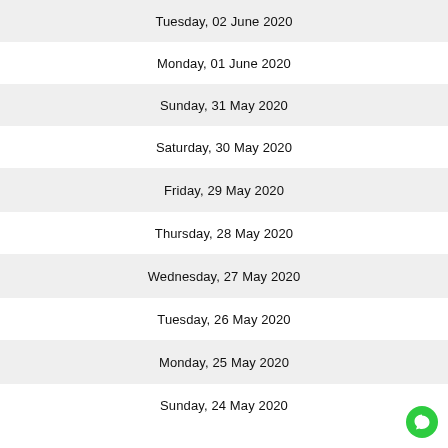Tuesday, 02 June 2020
Monday, 01 June 2020
Sunday, 31 May 2020
Saturday, 30 May 2020
Friday, 29 May 2020
Thursday, 28 May 2020
Wednesday, 27 May 2020
Tuesday, 26 May 2020
Monday, 25 May 2020
Sunday, 24 May 2020